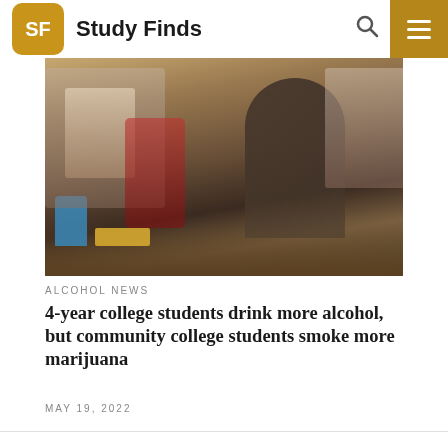Study Finds
[Figure (photo): Group of young college students sitting around a low table in a room, smoking marijuana and drinking. A blue plastic cup, lighters, rolling papers, and a pipe are visible on the table.]
ALCOHOL NEWS
4-year college students drink more alcohol, but community college students smoke more marijuana
MAY 19, 2022